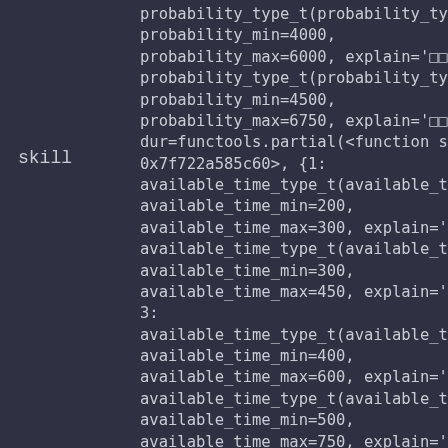skill
probability_type_t(probability_type=
probability_min=4000,
probability_max=6000, explain='□□
probability_type_t(probability_type=
probability_min=4500,
probability_max=6750, explain='□□
dur=functools.partial(<function skill_
0x7f722a585c60>, {1:
available_time_type_t(available_time
available_time_min=200,
available_time_max=300, explain='[
available_time_type_t(available_time
available_time_min=300,
available_time_max=450, explain='[
3:
available_time_type_t(available_time
available_time_min=400,
available_time_max=600, explain='[
available_time_type_t(available_time
available_time_min=500,
available_time_max=750, explain='[
5:
available_time_type_t(available_time
available_time_min=600,